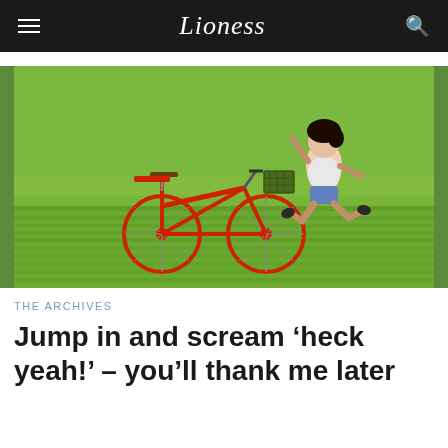Lioness
[Figure (photo): A woman jumping joyfully in a green rice field next to a red bicycle with a basket, bright green field background.]
THE ARCHIVES
Jump in and scream ‘heck yeah!’ – you’ll thank me later